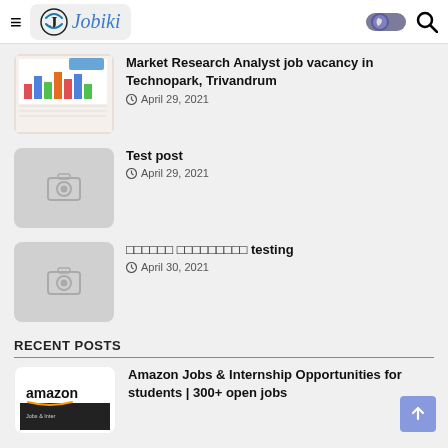Jobiki
Market Research Analyst job vacancy in Technopark, Trivandrum
April 29, 2021
Test post
April 29, 2021
□□□□□□ □□□□□□□□□ testing
April 30, 2021
RECENT POSTS
Amazon Jobs & Internship Opportunities for students | 300+ open jobs